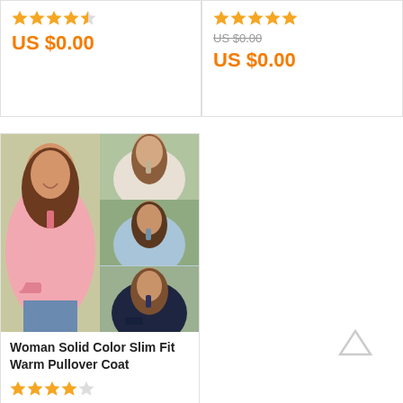[Figure (other): Product card top-left: star rating 4.5 stars, price US $0.00 in orange]
[Figure (other): Product card top-right: star rating 5 stars, original price US $0.00 struck through, sale price US $0.00 in orange]
[Figure (photo): Woman Solid Color Slim Fit Warm Pullover Coat product image grid: pink pullover on left, three smaller images on right showing beige, blue, and navy versions]
Woman Solid Color Slim Fit Warm Pullover Coat
4 stars rating
US $0.00 (strikethrough original price)